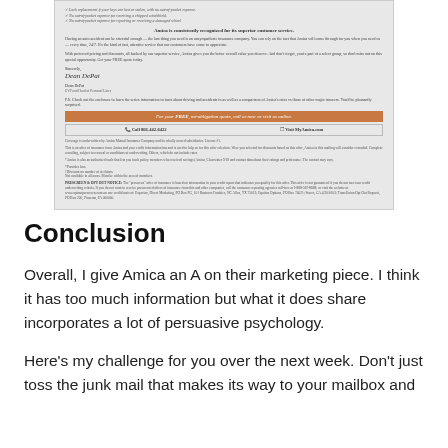[Figure (photo): Scanned image of an Amica insurance marketing letter. The letter includes checkmarks listing benefits (no out-of-pocket expense for receiving a chipped windshield, no out-of-pocket expense for repairing or receiving a damaged wheel), a bold centered line 'Amica is consistently recognized for its superior customer service.', body text explaining Amica's insurance offering, a signature from 'Dean DePat', a postscript, an orange call-to-action banner reading 'For your FREE, no-obligation quote, call us now or visit us online.', contact information showing 'Call 866-442-6422' and 'Visit MyAmica.com', fine print legal disclaimers, and a PRESCREEN & OPT OUT NOTICE section.]
Conclusion
Overall, I give Amica an A on their marketing piece. I think it has too much information but what it does share incorporates a lot of persuasive psychology.
Here's my challenge for you over the next week. Don't just toss the junk mail that makes its way to your mailbox and